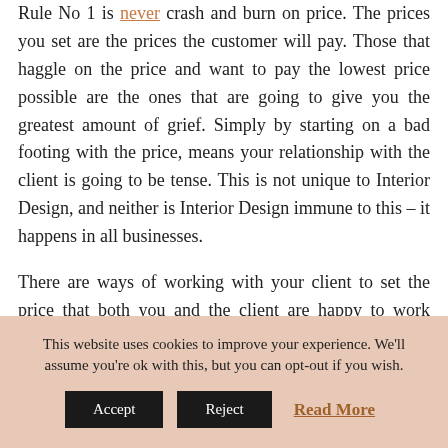Rule No 1 is never crash and burn on price. The prices you set are the prices the customer will pay. Those that haggle on the price and want to pay the lowest price possible are the ones that are going to give you the greatest amount of grief. Simply by starting on a bad footing with the price, means your relationship with the client is going to be tense. This is not unique to Interior Design, and neither is Interior Design immune to this – it happens in all businesses.
There are ways of working with your client to set the price that both you and the client are happy to work with.
This website uses cookies to improve your experience. We'll assume you're ok with this, but you can opt-out if you wish.